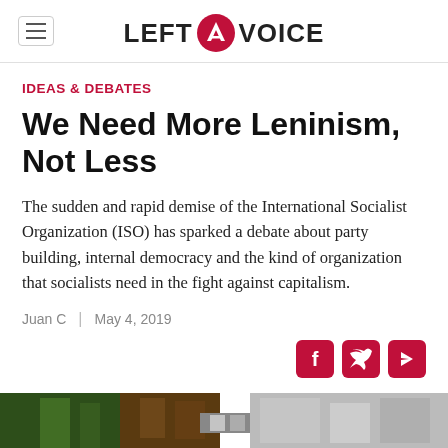LEFT VOICE
IDEAS & DEBATES
We Need More Leninism, Not Less
The sudden and rapid demise of the International Socialist Organization (ISO) has sparked a debate about party building, internal democracy and the kind of organization that socialists need in the fight against capitalism.
Juan C  |  May 4, 2019
[Figure (photo): Bottom strip image showing outdoor scene, partially visible]